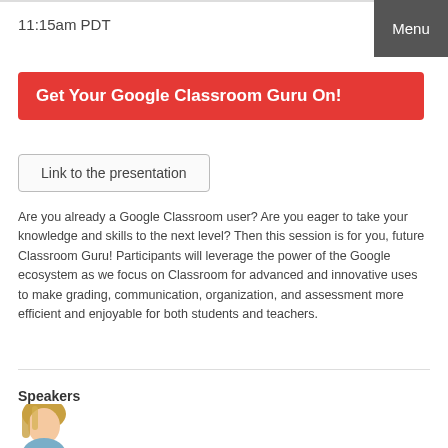11:15am PDT
Menu
Get Your Google Classroom Guru On!
Link to the presentation
Are you already a Google Classroom user? Are you eager to take your knowledge and skills to the next level? Then this session is for you, future Classroom Guru! Participants will leverage the power of the Google ecosystem as we focus on Classroom for advanced and innovative uses to make grading, communication, organization, and assessment more efficient and enjoyable for both students and teachers.
Speakers
[Figure (photo): Speaker headshot photo - partial view of person with blonde hair]